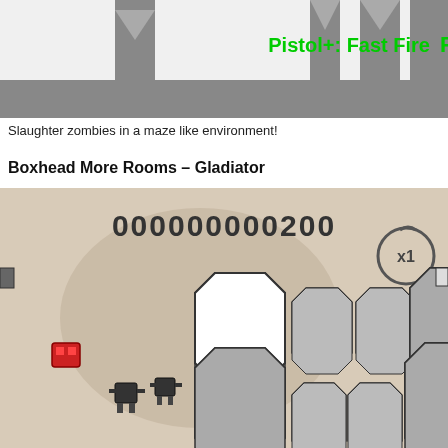[Figure (screenshot): Top portion of a Boxhead zombie game screenshot showing gray castle battlements on a gray platform with green text 'Pistol+: Fast Fire' in the upper right area.]
Slaughter zombies in a maze like environment!
Boxhead More Rooms – Gladiator
[Figure (screenshot): Screenshot of Boxhead More Rooms Gladiator game showing a top-down view of a beige/tan map with gray octagonal pillar obstacles arranged in two U-shaped formations. Score reads 000000000200 with x1 multiplier. A red box character is visible on the left side. Two dark zombie/enemy characters are visible in the lower left area of the map.]